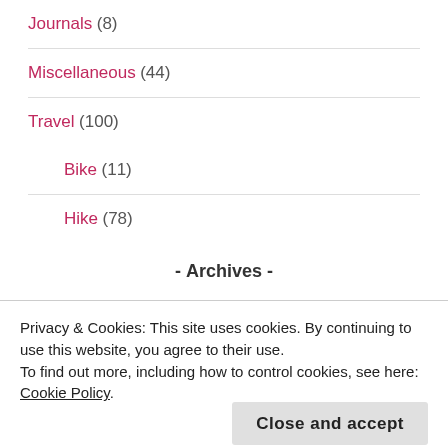Journals (8)
Miscellaneous (44)
Travel (100)
Bike (11)
Hike (78)
- Archives -
Select Month
- Let's connect! -
Privacy & Cookies: This site uses cookies. By continuing to use this website, you agree to their use.
To find out more, including how to control cookies, see here: Cookie Policy
Close and accept